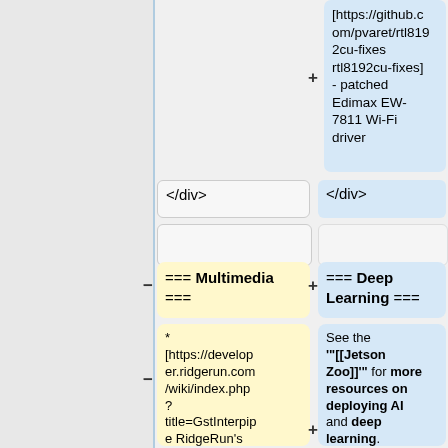[https://github.com/pvaret/rtl8192cu-fixes rtl8192cu-fixes] - patched Edimax EW-7811 Wi-Fi driver
</div>
</div>
=== Multimedia ===
=== Deep Learning ===
* [https://developer.ridgerun.com/wiki/index.php?title=GstInterpipe RidgeRun's GstInterpipe]
See the '"[[Jetson Zoo]]"' for more resources on deploying AI and deep learning.